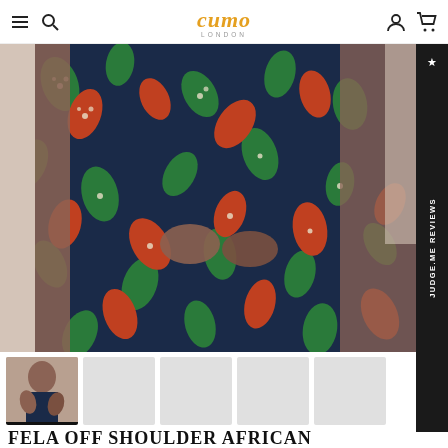cumo LONDON — navigation header with menu, search, account, and cart icons
[Figure (photo): Close-up of a model wearing a colorful African print dress with dark navy background and red, green, and cream teardrop/paisley patterns. The model has hands on waist showing the bodice of the dress.]
[Figure (other): Vertical black sidebar with star icon and rotated text: JUDGE.ME REVIEWS]
[Figure (photo): Thumbnail strip showing 5 product image thumbnails. First thumbnail active (selected) shows model in the African print dress. Remaining 4 thumbnails are light gray placeholder images.]
FELA OFF SHOULDER AFRICAN